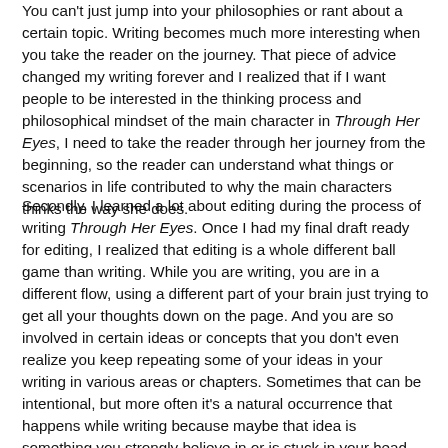You can't just jump into your philosophies or rant about a certain topic. Writing becomes much more interesting when you take the reader on the journey. That piece of advice changed my writing forever and I realized that if I want people to be interested in the thinking process and philosophical mindset of the main character in Through Her Eyes, I need to take the reader through her journey from the beginning, so the reader can understand what things or scenarios in life contributed to why the main characters thinks the way she does.
Secondly, I learned a lot about editing during the process of writing Through Her Eyes. Once I had my final draft ready for editing, I realized that editing is a whole different ball game than writing. While you are writing, you are in a different flow, using a different part of your brain just trying to get all your thoughts down on the page. And you are so involved in certain ideas or concepts that you don't even realize you keep repeating some of your ideas in your writing in various areas or chapters. Sometimes that can be intentional, but more often it's a natural occurrence that happens while writing because maybe that idea is something you strongly believe in or is stuck in your head. While going through the editing process for Through Her Eyes, I realized I had repeated the idea "physical